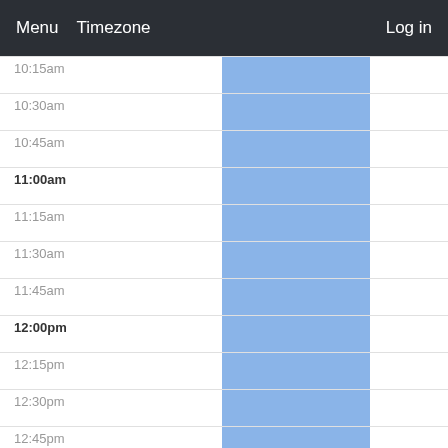Menu   Timezone   Log in
[Figure (screenshot): A scheduling/calendar interface showing time slots from 10:15am to 1:15pm. A blue highlighted column block spans from above 10:15am through at least 1:15pm, indicating an event or availability window.]
10:15am
10:30am
10:45am
11:00am
11:15am
11:30am
11:45am
12:00pm
12:15pm
12:30pm
12:45pm
1:00pm
1:15pm